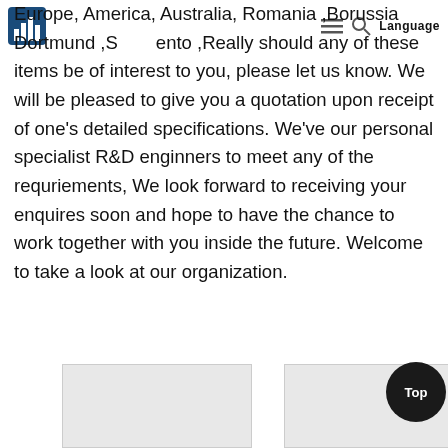Language
Europe, America, Australia, Romania ,Borussia Dortmund ,Sacramento ,Really should any of these items be of interest to you, please let us know. We will be pleased to give you a quotation upon receipt of one's detailed specifications. We've our personal specialist R&D enginners to meet any of the requriements, We look forward to receiving your enquires soon and hope to have the chance to work together with you inside the future. Welcome to take a look at our organization.
[Figure (photo): Left image box at bottom of page]
[Figure (photo): Right image box at bottom of page]